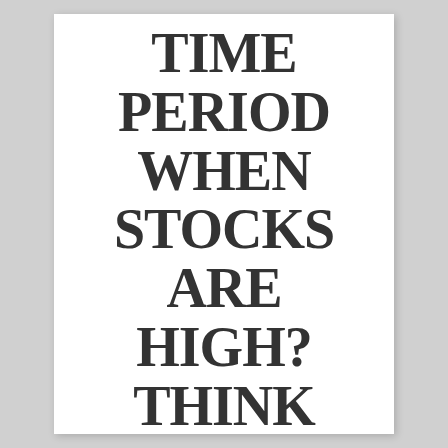TIME PERIOD WHEN STOCKS ARE HIGH? THINK ABOUT A PAINFUL DROP
May 3, 2017  Lauren